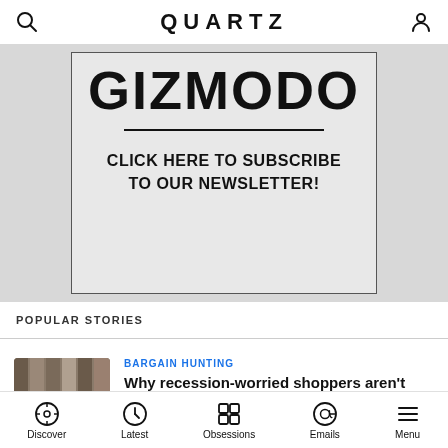QUARTZ
[Figure (other): Gizmodo newsletter subscription advertisement banner with large bold GIZMODO text, a horizontal divider, and text reading CLICK HERE TO SUBSCRIBE TO OUR NEWSLETTER!]
POPULAR STORIES
[Figure (photo): Small thumbnail photo of retail store clothing racks with a shopper browsing]
BARGAIN HUNTING
Why recession-worried shoppers aren't shopping at TJ Maxx, Ross, or Nordstrom Rack
Discover | Latest | Obsessions | Emails | Menu